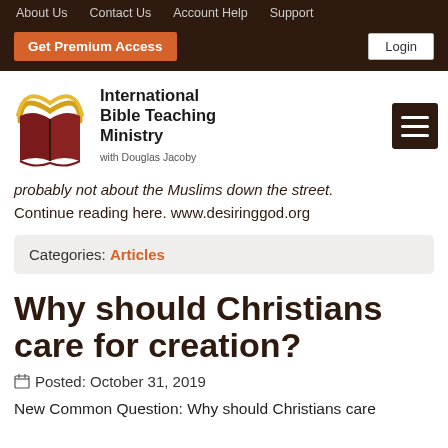About Us   Contact Us   Account Help   Support
Get Premium Access   Login
[Figure (logo): International Bible Teaching Ministry logo with open book and sun/halo graphic, with text 'International Bible Teaching Ministry with Douglas Jacoby']
probably not about the Muslims down the street.
Continue reading here. www.desiringgod.org
Categories: Articles
Why should Christians care for creation?
Posted: October 31, 2019
New Common Question: Why should Christians care